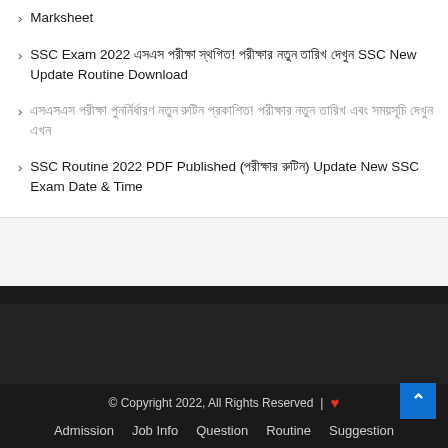Marksheet
SSC Exam 2022 এসএস পরীক্ষা স্থগিত! পরীক্ষার নতুন তারিখ দেখুন SSC New Update Routine Download
এসএসএস পরীক্ষা পুনর্নির্ধারণ নতুন রুটিন প্রকাশিত! পরীক্ষার নতুন তারিখ এবং সময়সূচি দেখুন এখন
SSC Routine 2022 PDF Published (পরীক্ষার রুটিন) Update New SSC Exam Date & Time
© Copyright 2022, All Rights Reserved | ♥ Admission Job Info Question Routine Suggestion